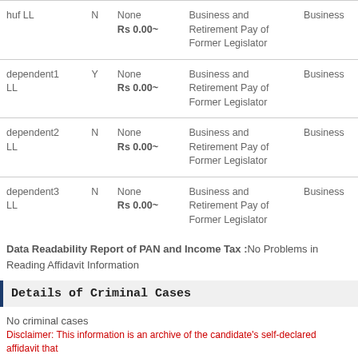| Owner | Self Owned | Amount | Source | Type |
| --- | --- | --- | --- | --- |
| huf LL | N | None Rs 0.00~ | Business and Retirement Pay of Former Legislator | Business |
| dependent1 LL | Y | None Rs 0.00~ | Business and Retirement Pay of Former Legislator | Business |
| dependent2 LL | N | None Rs 0.00~ | Business and Retirement Pay of Former Legislator | Business |
| dependent3 LL | N | None Rs 0.00~ | Business and Retirement Pay of Former Legislator | Business |
Data Readability Report of PAN and Income Tax :No Problems in Reading Affidavit Information
Details of Criminal Cases
No criminal cases
Disclaimer: This information is an archive of the candidate's self-declared affidavit that